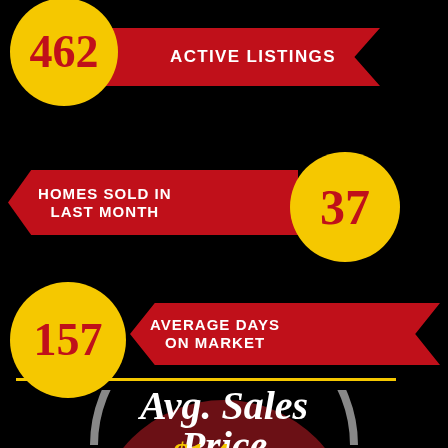[Figure (infographic): Real estate market statistics infographic on black background. Shows: 462 Active Listings (yellow circle + red ribbon), 37 Homes Sold in Last Month (red ribbon + yellow circle), 157 Average Days on Market (yellow circle + red ribbon), yellow divider line, Avg. Sales Price label with dark red semicircle and price number partially visible at bottom.]
462
ACTIVE LISTINGS
HOMES SOLD IN LAST MONTH
37
157
AVERAGE DAYS ON MARKET
Avg. Sales Price